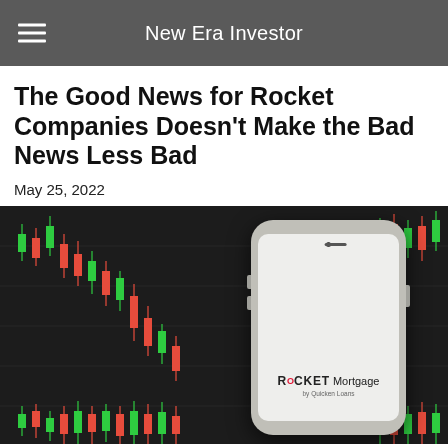New Era Investor
The Good News for Rocket Companies Doesn't Make the Bad News Less Bad
May 25, 2022
[Figure (photo): A smartphone displaying the Rocket Mortgage by Quicken Loans logo, set against a dark candlestick stock chart background showing red and green candles in a downward trend.]
Stock Market